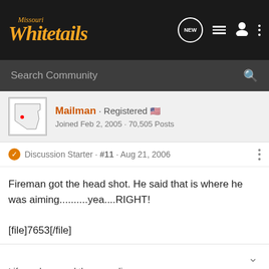[Figure (screenshot): Missouri Whitetails forum top navigation bar with logo and icons]
Search Community
Mailman · Registered 🇺🇸
Joined Feb 2, 2005 · 70,505 Posts
Discussion Starter · #11 · Aug 21, 2006
Fireman got the head shot. He said that is where he was aiming..........yea....RIGHT!

[file]7653[/file]
Life sucks.....and then you die.
Advertisement